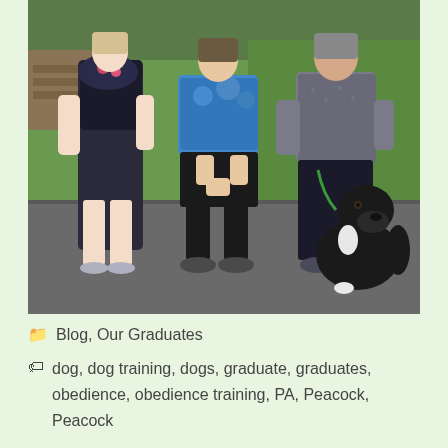[Figure (photo): Three people standing outdoors on a paved path with a large black dog sitting beside them on a leash. There is a wooden picnic table and green grass in the background. The person on the left wears a dark sleeveless top and black shorts with sneakers. The middle person wears a blue tie-dye shirt, black shorts, black socks and sandals. The right person wears a gray top, dark pants and sandals, holding the dog on a green leash.]
Blog, Our Graduates
dog, dog training, dogs, graduate, graduates, obedience, obedience training, PA, Peacock, Peacock